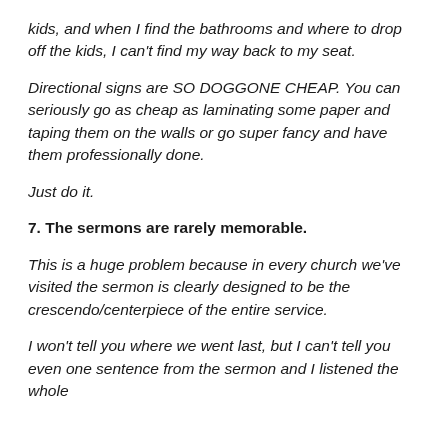kids, and when I find the bathrooms and where to drop off the kids, I can't find my way back to my seat.
Directional signs are SO DOGGONE CHEAP. You can seriously go as cheap as laminating some paper and taping them on the walls or go super fancy and have them professionally done.
Just do it.
7. The sermons are rarely memorable.
This is a huge problem because in every church we've visited the sermon is clearly designed to be the crescendo/centerpiece of the entire service.
I won't tell you where we went last, but I can't tell you even one sentence from the sermon and I listened the whole time.